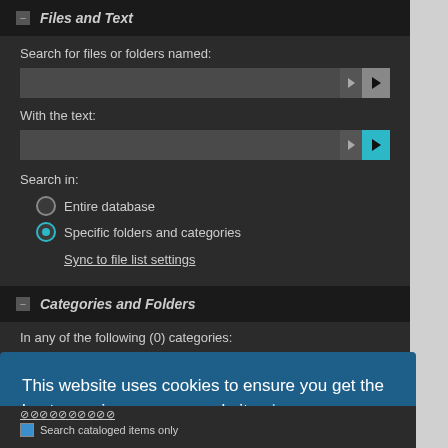Files and Text
Search for files or folders named:
With the text:
Search in:
Entire database
Specific folders and categories
Sync to file list settings
Categories and Folders
In any of the following (0) categories:
This website uses cookies to ensure you get the best experience on our website.  Learn more
Got it!
Search cataloged items only